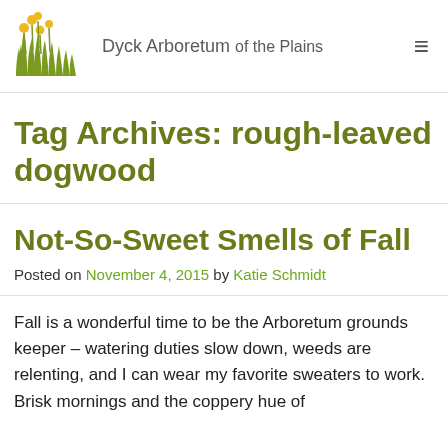[Figure (logo): Dyck Arboretum of the Plains logo with grass and yellow flowers illustration and text]
Tag Archives: rough-leaved dogwood
Not-So-Sweet Smells of Fall
Posted on November 4, 2015 by Katie Schmidt
Fall is a wonderful time to be the Arboretum grounds keeper – watering duties slow down, weeds are relenting, and I can wear my favorite sweaters to work. Brisk mornings and the coppery hue of